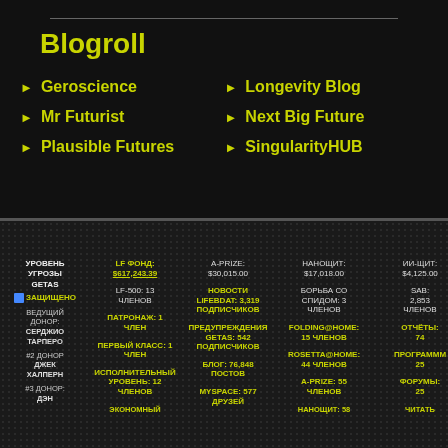Blogroll
Geroscience
Mr Futurist
Plausible Futures
Longevity Blog
Next Big Future
SingularityHUB
| УРОВЕНЬ УГРОЗЫ GETAS | LF ФОНД | A-PRIZE | НАНОЩИТ | ИИ-ЩИТ |
| --- | --- | --- | --- | --- |
| ЗАЩИЩЕНО | $617,243.39 | $30,015.00 | $17,018.00 | $4,125.00 |
| ВЕДУЩИЙ ДОНОР: СЕРДЖИО ТАРПЕРО | LF-500: 13 ЧЛЕНОВ | НОВОСТИ LIFEBDAT: 3,319 ПОДПИСЧИКОВ | БОРЬБА СО СПИДОМ: 3 ЧЛЕНОВ | SAB: 2,853 ЧЛЕНОВ |
| #2 ДОНОР ДЖЕК ХАЛПЕРН | ПАТРОНАЖ: 1 ЧЛЕН | ПРЕДУПРЕЖДЕНИЯ GETAS: 542 ПОДПИСЧИКОВ | FOLDING@HOME: 15 ЧЛЕНОВ | ОТЧЁТЫ: 74 |
| #3 ДОНОР: ДЭН | ПЕРВЫЙ КЛАСС: 1 ЧЛЕН | БЛОГ: 76,848 ПОСТОВ | ROSETTA@HOME: 44 ЧЛЕНОВ | ПРОГРАМММ 25 |
|  | ИСПОЛНИТЕЛЬНЫЙ УРОВЕНЬ: 12 ЧЛЕНОВ | MYSPACE: 577 ДРУЗЕЙ | A-PRIZE: 55 ЧЛЕНОВ | ФОРУМЫ: 25 |
|  | ЭКОНОМНЫЙ |  | НАНОЩИТ: 58 | ЧИТАТЬ |